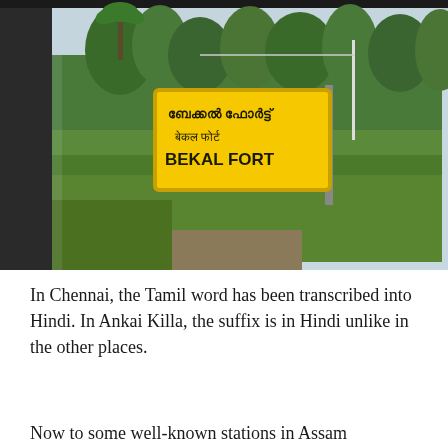[Figure (photo): A photograph taken from inside a train window showing a yellow railway station sign reading 'BEKAL FORT' in English, Malayalam script, and Hindi/Devanagari script, surrounded by green vegetation and trees in the background.]
In Chennai, the Tamil word has been transcribed into Hindi. In Ankai Killa, the suffix is in Hindi unlike in the other places.
Now to some well-known stations in Assam